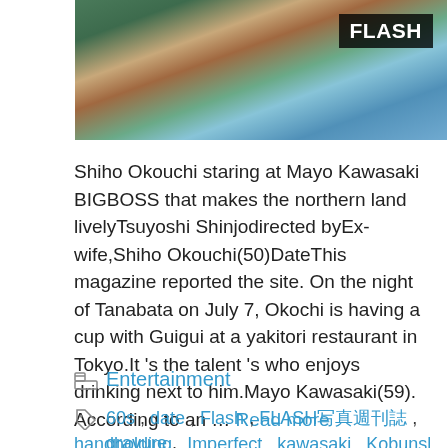[Figure (photo): Partial photo showing people, possibly at an outdoor setting. A black badge with 'FLASH' text in white bold letters appears in the top right corner of the photo.]
Shiho Okouchi staring at Mayo Kawasaki BIGBOSS that makes the northern land livelyTsuyoshi Shinjodirected byEx-wife,Shiho Okouchi(50)DateThis magazine reported the site. On the night of Tanabata on July 7, Okochi is having a cup with Guigui at a yakitori restaurant in Tokyo.It 's the talent 's who enjoys drinking next to him.Mayo Kawasaki(59). According to an … Read more
Entertainment
60s , date , Flash , FLASH写真週刊誌 , gravure , handholding , Imperfect , kawasaki , Kobunsha ,